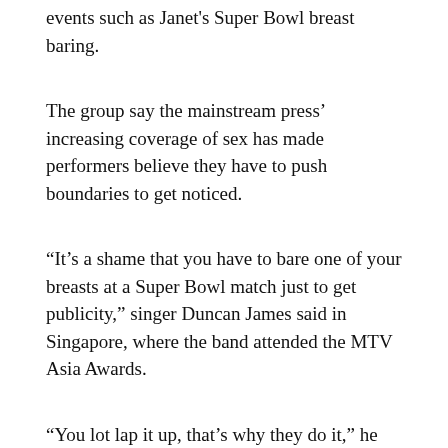events such as Janet's Super Bowl breast baring.
The group say the mainstream press’ increasing coverage of sex has made performers believe they have to push boundaries to get noticed.
“It’s a shame that you have to bare one of your breasts at a Super Bowl match just to get publicity,” singer Duncan James said in Singapore, where the band attended the MTV Asia Awards.
“You lot lap it up, that’s why they do it,” he told reporters.
“You lot write about it and it makes front page news in every bloody country. You’re promoting it.”
The band also commented about tomorrow’s Brit Awards.